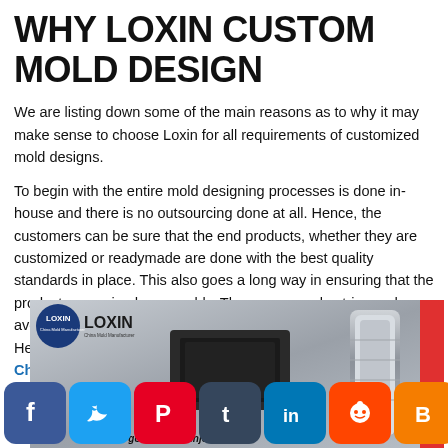WHY LOXIN CUSTOM MOLD DESIGN
We are listing down some of the main reasons as to why it may make sense to choose Loxin for all requirements of customized mold designs.
To begin with the entire mold designing processes is done in-house and there is no outsourcing done at all. Hence, the customers can be sure that the end products, whether they are customized or readymade are done with the best quality standards in place. This also goes a long way in ensuring that the products are priced reasonably. The company also tries and avoids middle-men and they are sent directly to the clients. Hence you can be sure that you get the best possible Mold China solutions at competitive rates.
[Figure (photo): Loxin branded image showing plastic injection mold components and machinery with the Loxin logo in the top-left corner. Social media sharing icons (Facebook, Twitter, Pinterest, Tumblr, LinkedIn, Reddit, Blogger, More) appear at the bottom. Below the image partial text reads 'What is good plastic injection'.]